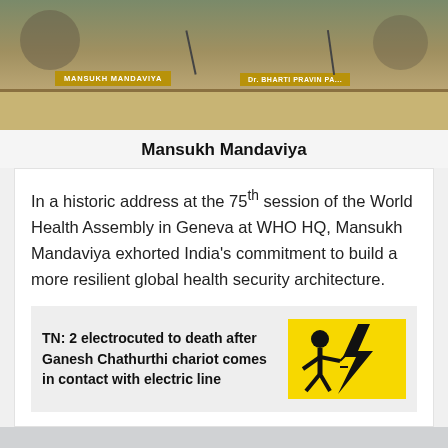[Figure (photo): Photo of a government meeting with nameplates reading 'MANSUKH MANDAVIYA' and 'Dr. BHARTI PRAVIN PA...' on a wooden desk with microphones]
Mansukh Mandaviya
In a historic address at the 75th session of the World Health Assembly in Geneva at WHO HQ, Mansukh Mandaviya exhorted India's commitment to build a more resilient global health security architecture.
TN: 2 electrocuted to death after Ganesh Chathurthi chariot comes in contact with electric line
[Figure (illustration): Yellow square illustration with black silhouette of person being electrocuted by lightning bolt]